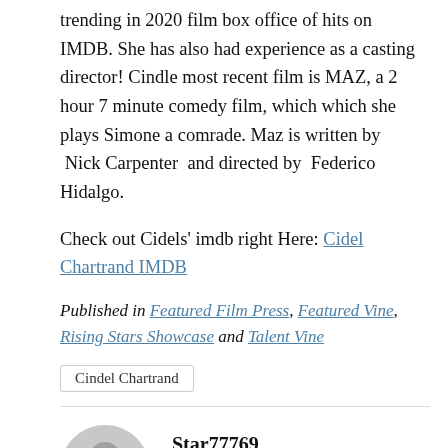trending in 2020 film box office of hits on IMDB. She has also had experience as a casting director! Cindle most recent film is MAZ, a 2 hour 7 minute comedy film, which which she plays Simone a comrade. Maz is written by  Nick Carpenter  and directed by  Federico Hidalgo.
Check out Cidels' imdb right Here: Cidel Chartrand IMDB
Published in Featured Film Press, Featured Vine, Rising Stars Showcase and Talent Vine
Cindel Chartrand
[Figure (illustration): Generic user avatar icon — grey circle with stylized person silhouette]
Star77769